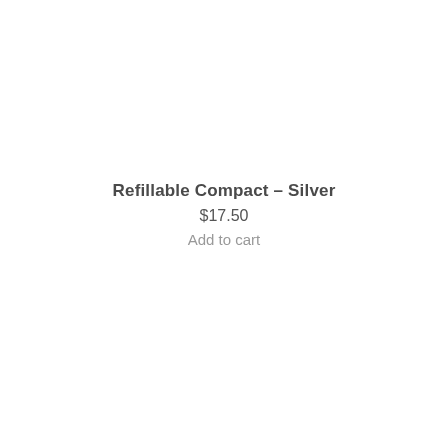Refillable Compact – Silver
$17.50
Add to cart